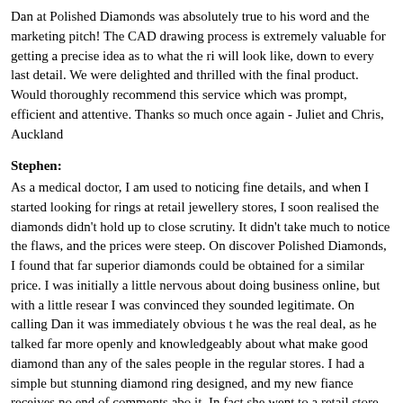Dan at Polished Diamonds was absolutely true to his word and the marketing pitch! The CAD drawing process is extremely valuable for getting a precise idea as to what the ring will look like, down to every last detail. We were delighted and thrilled with the final product. Would thoroughly recommend this service which was prompt, efficient and attentive. Thanks so much once again - Juliet and Chris, Auckland
Stephen:
As a medical doctor, I am used to noticing fine details, and when I started looking for rings at retail jewellery stores, I soon realised the diamonds didn't hold up to close scrutiny. It didn't take much to notice the flaws, and the prices were steep. On discovering Polished Diamonds, I found that far superior diamonds could be obtained for a similar price. I was initially a little nervous about doing business online, but with a little research I was convinced they sounded legitimate. On calling Dan it was immediately obvious that he was the real deal, as he talked far more openly and knowledgeably about what makes a good diamond than any of the sales people in the regular stores. I had a simple but stunning diamond ring designed, and my new fiance receives no end of comments about it. In fact she went to a retail store the other day, and said the man just about fainted with excitement on examining her engagement ring. This is a ring that is not cheap, but not wildly expensive either. The value from Polished Diamonds is amazing. I was absolutely thrilled with the service I received from Dan, and would never consider going anywhere else. He was easily accessible throughout all stages of the ring making process, had great ideas, and was very discreet. If you want a quality diamond, Polished Diamonds is the place for you. If you are happy with a regular diamond, and just want it a lot cheaper th